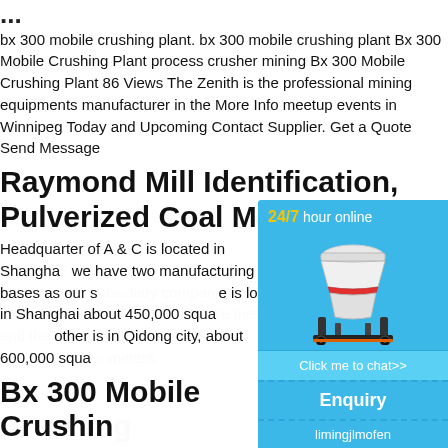...
bx 300 mobile crushing plant. bx 300 mobile crushing plant Bx 300 Mobile Crushing Plant process crusher mining Bx 300 Mobile Crushing Plant 86 Views The Zenith is the professional mining equipments manufacturer in the More Info meetup events in Winnipeg Today and Upcoming Contact Supplier. Get a Quote Send Message
Raymond Mill Identification, Pulverized Coal Mobile
Headquarter of A & C is located in Shanghai, we have two manufacturing bases as our s... is located in Shanghai about 450,000 squa... other is in Qidong city, about 600,000 squa...
Bx 300 Mobile Crushing
bx 300 mobile crushing plant - globalpinddo... as recently took delivery of a cmb bx mobile... plant is a dieselhydraulic powered unit featu... s high performance. Inquiry; HP Series Cone... s Cone Crusher For sale. ...
[Figure (infographic): 24/7 hour online chat widget showing a cone crusher image, a 'Click me to chat>>' button, an 'Enquiry' section, and 'limingjlmofen' text at the bottom]